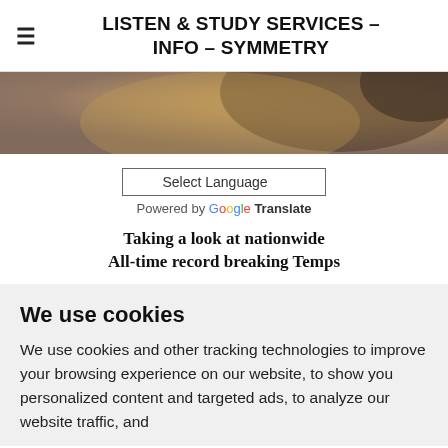LISTEN & STUDY SERVICES – INFO – SYMMETRY
[Figure (photo): Blurred close-up photograph with warm tan/brown tones, possibly a person or object, used as a hero banner image.]
Select Language
Powered by Google Translate
Taking a look at nationwide All-time record breaking Temps
We use cookies
We use cookies and other tracking technologies to improve your browsing experience on our website, to show you personalized content and targeted ads, to analyze our website traffic, and